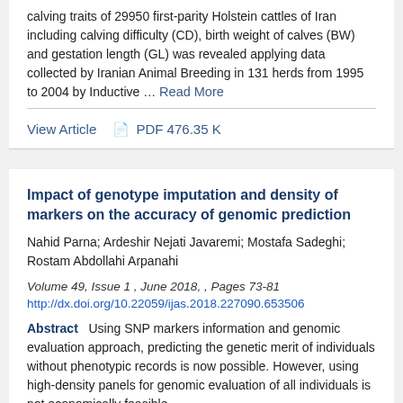calving traits of 29950 first-parity Holstein cattles of Iran including calving difficulty (CD), birth weight of calves (BW) and gestation length (GL) was revealed applying data collected by Iranian Animal Breeding in 131 herds from 1995 to 2004 by Inductive … Read More
View Article   PDF 476.35 K
Impact of genotype imputation and density of markers on the accuracy of genomic prediction
Nahid Parna; Ardeshir Nejati Javaremi; Mostafa Sadeghi; Rostam Abdollahi Arpanahi
Volume 49, Issue 1 , June 2018, , Pages 73-81
http://dx.doi.org/10.22059/ijas.2018.227090.653506
Abstract   Using SNP markers information and genomic evaluation approach, predicting the genetic merit of individuals without phenotypic records is now possible. However, using high-density panels for genomic evaluation of all individuals is not economically feasible.